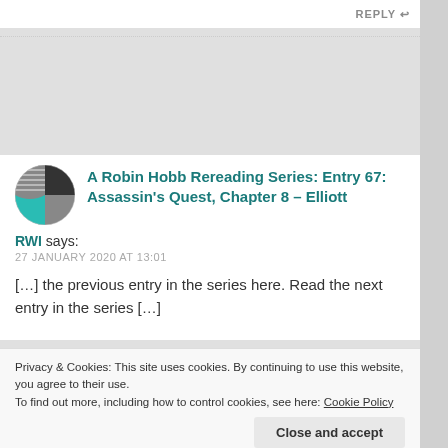REPLY
[Figure (logo): Circular logo with teal/cyan and dark gray sections with horizontal lines]
A Robin Hobb Rereading Series: Entry 67: Assassin's Quest, Chapter 8 – Elliott
RWI says:
27 JANUARY 2020 AT 13:01
[…] the previous entry in the series here. Read the next entry in the series […]
Privacy & Cookies: This site uses cookies. By continuing to use this website, you agree to their use.
To find out more, including how to control cookies, see here: Cookie Policy
Close and accept